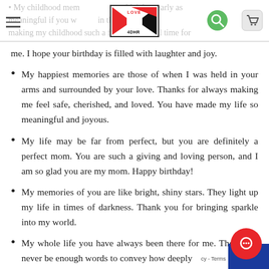Website header with logo, navigation hamburger icon, search and cart icons
me. I hope your birthday is filled with laughter and joy.
My happiest memories are those of when I was held in your arms and surrounded by your love. Thanks for always making me feel safe, cherished, and loved. You have made my life so meaningful and joyous.
My life may be far from perfect, but you are definitely a perfect mom. You are such a giving and loving person, and I am so glad you are my mom. Happy birthday!
My memories of you are like bright, shiny stars. They light up my life in times of darkness. Thank you for bringing sparkle into my world.
My whole life you have always been there for me. There will never be enough words to convey how deeply